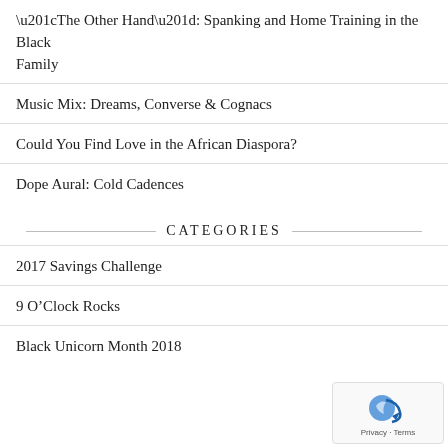“The Other Hand”: Spanking and Home Training in the Black Family
Music Mix: Dreams, Converse & Cognacs
Could You Find Love in the African Diaspora?
Dope Aural: Cold Cadences
CATEGORIES
2017 Savings Challenge
9 O’Clock Rocks
Black Unicorn Month 2018